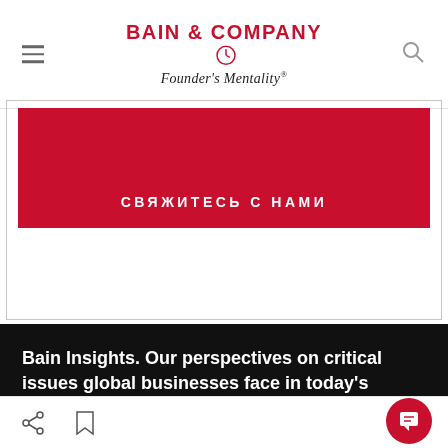BAIN & COMPANY Founder's Mentality®
СВЯЖИТЕСЬ С НАМИ
Bain Insights. Our perspectives on critical issues global businesses face in today's
We use cookies to improve functionality and performance of this site. By continuing to browse this site, you consent to the use of cookies.
ACCEPT ALL COOKIES